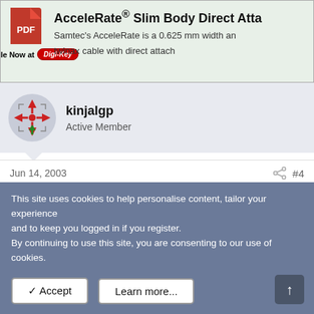[Figure (other): Advertisement banner for AcceleRate Slim Body Direct Attach product, with PDF icon, DigiKey logo, and product description text.]
[Figure (other): Forum user avatar icon showing a move/directional cursor symbol in red and green.]
kinjalgp
Active Member
Jun 14, 2003
#4
To calculate the series resistor value use the blwoe given forumla.
This site uses cookies to help personalise content, tailor your experience and to keep you logged in if you register.
By continuing to use this site, you are consenting to our use of cookies.